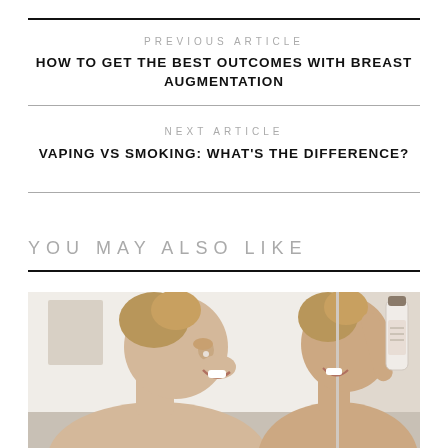PREVIOUS ARTICLE
HOW TO GET THE BEST OUTCOMES WITH BREAST AUGMENTATION
NEXT ARTICLE
VAPING VS SMOKING: WHAT'S THE DIFFERENCE?
YOU MAY ALSO LIKE
[Figure (photo): Photo of a smiling woman in a bathroom holding a beauty product, with her reflection visible in a mirror]